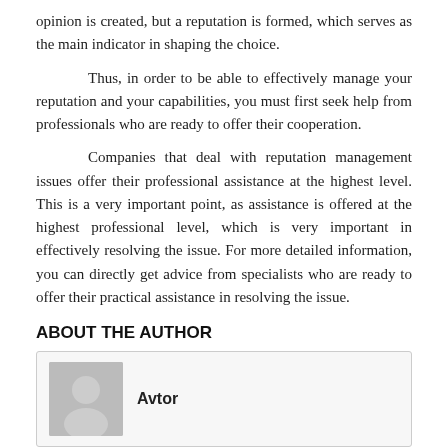opinion is created, but a reputation is formed, which serves as the main indicator in shaping the choice.
Thus, in order to be able to effectively manage your reputation and your capabilities, you must first seek help from professionals who are ready to offer their cooperation.
Companies that deal with reputation management issues offer their professional assistance at the highest level. This is a very important point, as assistance is offered at the highest professional level, which is very important in effectively resolving the issue. For more detailed information, you can directly get advice from specialists who are ready to offer their practical assistance in resolving the issue.
ABOUT THE AUTHOR
Avtor